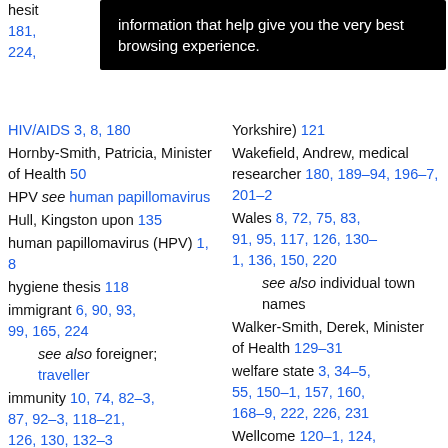hesit... 181, 224,
[Figure (screenshot): Dark tooltip overlay with text: 'information that help give you the very best browsing experience.']
HIV/AIDS 3, 8, 180
Hornby-Smith, Patricia, Minister of Health 50
HPV see human papillomavirus
Hull, Kingston upon 135
human papillomavirus (HPV) 1, 8
hygiene thesis 118
immigrant 6, 90, 93, 99, 165, 224
see also foreigner; traveller
immunity 10, 74, 82–3, 87, 92–3, 118–21, 126, 130, 132–3
herd 11, 80, 96–8, 150, 157, 186, 201, 204
Yorkshire) 121
Wakefield, Andrew, medical researcher 180, 189–94, 196–7, 201–2
Wales 8, 72, 75, 83, 91, 95, 117, 126, 130–1, 136, 150, 220
see also individual town names
Walker-Smith, Derek, Minister of Health 129–31
welfare state 3, 34–5, 55, 150–1, 157, 160, 168–9, 222, 226, 231
Wellcome 120–1, 124, 127, 133
West Bromwich 134
women